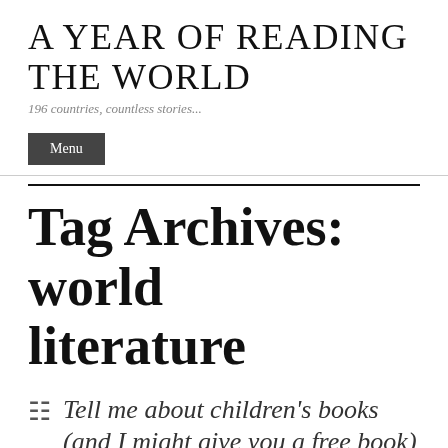A Year of Reading the World
196 countries, countless stories...
Menu
Tag Archives: world literature
Tell me about children's books (and I might give you a free book)
December 18, 2015  By  Ann Morgan  in Post-world, Reading the World (book)  Tags  books, children's books, competition, culture